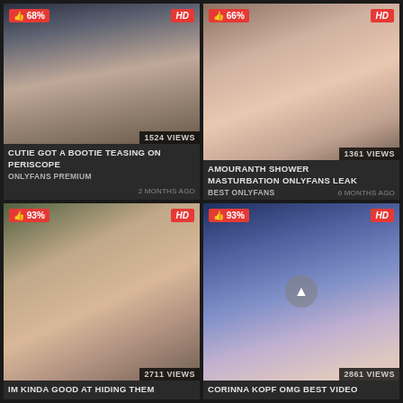[Figure (screenshot): Video thumbnail 1: person with dark hair, webcam style, bedroom background. Badge: 68% likes, HD. Views: 1524 VIEWS]
CUTIE GOT A BOOTIE TEASING ON PERISCOPE
ONLYFANS PREMIUM   2 MONTHS AGO
[Figure (screenshot): Video thumbnail 2: redhead woman in shower. Badge: 66% likes, HD. Views: 1361 VIEWS]
AMOURANTH SHOWER MASTURBATION ONLYFANS LEAK
BEST ONLYFANS   6 MONTHS AGO
[Figure (screenshot): Video thumbnail 3: woman holding green cloth. Badge: 93% likes, HD. Views: 2711 VIEWS]
IM KINDA GOOD AT HIDING THEM
[Figure (screenshot): Video thumbnail 4: blonde woman in blue lighting. Badge: 93% likes, HD. Views: 2861 VIEWS]
CORINNA KOPF OMG BEST VIDEO